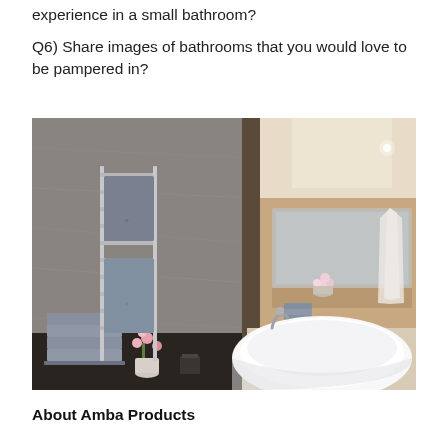experience in a small bathroom?
Q6) Share images of bathrooms that you would love to be pampered in?
[Figure (photo): Luxury bathroom interior with heated towel rails holding grey towels, a freestanding white oval bathtub, a dark countertop with stacked grey towels and pink flowers, and a large mirror reflecting the space with a white bathrobe hanging.]
About Amba Products